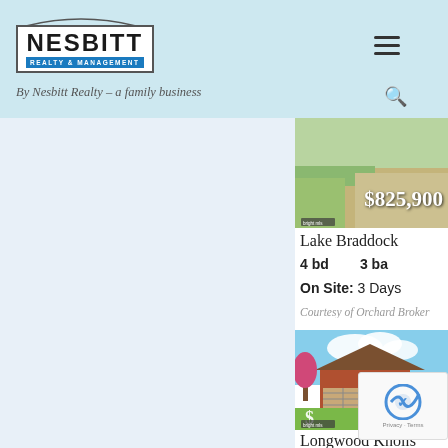Nesbitt Realty & Management — By Nesbitt Realty – a family business
[Figure (photo): Partial property listing photo showing green lawn and driveway with price overlay $825,900]
Lake Braddock
4 bd   3 ba
On Site: 3 Days
Courtesy of Orchard Broker
[Figure (photo): Property listing photo showing red brick colonial house with two-car garage, blue sky, and green lawn. Price overlay shows $]
Longwood Knolls